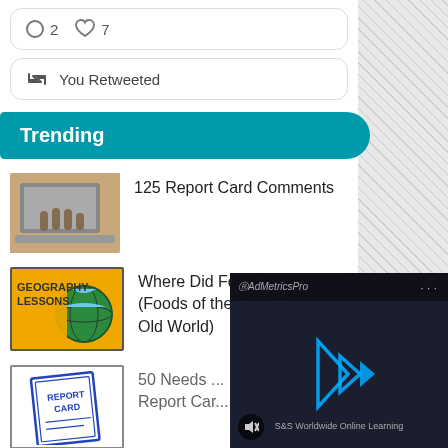[Figure (screenshot): Tweet card showing comment icon with 2 and heart icon with 7]
You Retweeted
Trending
[Figure (photo): Photo of person typing on laptop keyboard]
125 Report Card Comments
[Figure (illustration): Geography Lessons thumbnail with globe on yellow background]
Where Did Foods Originate? (Foods of the New World and Old World)
[Figure (illustration): Report Card illustration with blue border and text REPORT CARD]
50 Needs ... Report Car...
[Figure (screenshot): AdMetricsPro video overlay showing S&S Worldwide Online Learning with play button and blue geometric shapes on dark background]